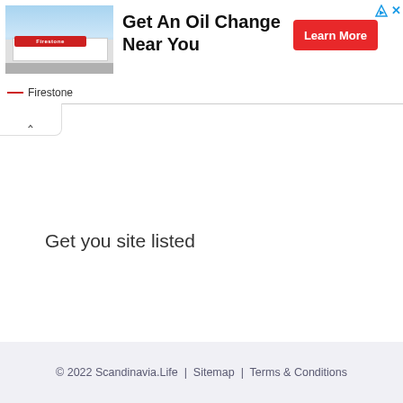[Figure (screenshot): Firestone auto service advertisement banner with store photo, headline 'Get An Oil Change Near You', a red 'Learn More' button, and Firestone logo/name at bottom left. Small ad icons (triangle and X) at top right.]
Get you site listed
© 2022 Scandinavia.Life | Sitemap | Terms & Conditions